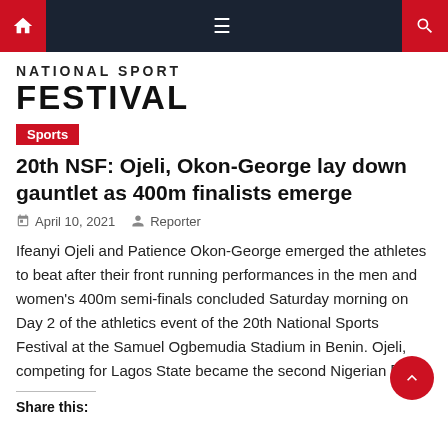National Sport Festival — navigation bar
NATIONAL SPORT FESTIVAL
Sports
20th NSF: Ojeli, Okon-George lay down gauntlet as 400m finalists emerge
April 10, 2021   Reporter
Ifeanyi Ojeli and Patience Okon-George emerged the athletes to beat after their front running performances in the men and women's 400m semi-finals concluded Saturday morning on Day 2 of the athletics event of the 20th National Sports Festival at the Samuel Ogbemudia Stadium in Benin. Ojeli, competing for Lagos State became the second Nigerian [...]
Share this: